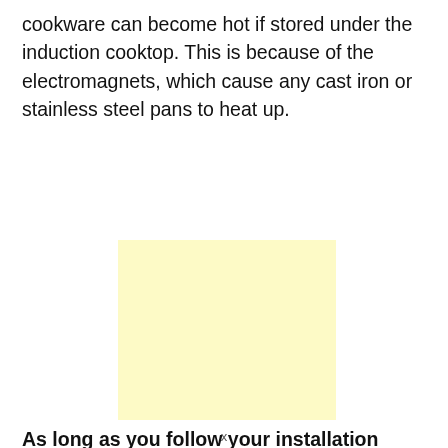cookware can become hot if stored under the induction cooktop. This is because of the electromagnets, which cause any cast iron or stainless steel pans to heat up.
[Figure (other): A plain light yellow square/rectangle, appears to be an advertisement or image placeholder.]
As long as you follow your installation manual and
x